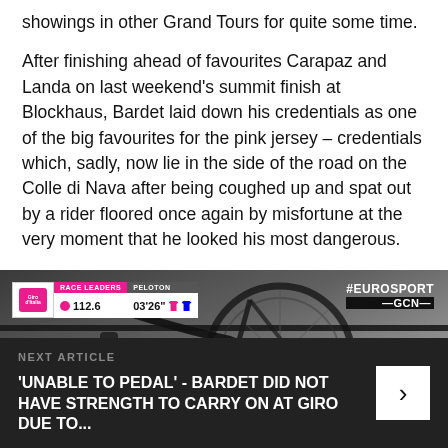showings in other Grand Tours for quite some time.
After finishing ahead of favourites Carapaz and Landa on last weekend's summit finish at Blockhaus, Bardet laid down his credentials as one of the big favourites for the pink jersey – credentials which, sadly, now lie in the side of the road on the Colle di Nava after being coughed up and spat out by a rider floored once again by misfortune at the very moment that he looked his most dangerous.
[Figure (screenshot): Eurosport/GCN TV broadcast screenshot showing bicycle rack in close-up with race HUD overlay displaying RACE LEADERS: 112.6km and PELOTON: 03'26" with pink and blue jersey icons, and Eurosport GCN branding top right]
NEXT ARTICLE
'UNABLE TO PEDAL' - BARDET DID NOT HAVE STRENGTH TO CARRY ON AT GIRO DUE TO...